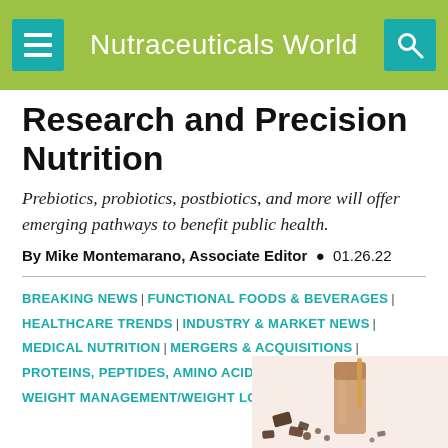Nutraceuticals World
Research and Precision Nutrition
Prebiotics, probiotics, postbiotics, and more will offer emerging pathways to benefit public health.
By Mike Montemarano, Associate Editor • 01.26.22
BREAKING NEWS | FUNCTIONAL FOODS & BEVERAGES | HEALTHCARE TRENDS | INDUSTRY & MARKET NEWS | MEDICAL NUTRITION | MERGERS & ACQUISITIONS | PROTEINS, PEPTIDES, AMINO ACIDS | WEIGHT MANAGEMENT/WEIGHT LOSS
[Figure (photo): A chocolate smoothie or protein shake in a tall glass with chocolate pieces scattered around on a white background.]